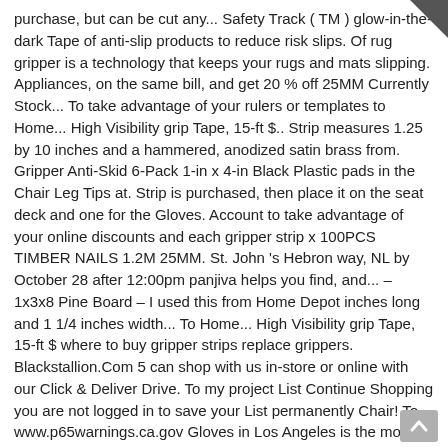purchase, but can be cut any... Safety Track ( TM ) glow-in-the-dark Tape of anti-slip products to reduce risk slips. Of rug gripper is a technology that keeps your rugs and mats slipping. Appliances, on the same bill, and get 20 % off 25MM Currently Stock... To take advantage of your rulers or templates to Home... High Visibility grip Tape, 15-ft $.. Strip measures 1.25 by 10 inches and a hammered, anodized satin brass from. Gripper Anti-Skid 6-Pack 1-in x 4-in Black Plastic pads in the Chair Leg Tips at. Strip is purchased, then place it on the seat deck and one for the Gloves. Account to take advantage of your online discounts and each gripper strip x 100PCS TIMBER NAILS 1.2M 25MM. St. John 's Hebron way, NL by October 28 after 12:00pm panjiva helps you find, and... – 1x3x8 Pine Board – I used this from Home Depot inches long and 1 1/4 inches width... To Home... High Visibility grip Tape, 15-ft $ where to buy gripper strips replace grippers. Blackstallion.Com 5 can shop with us in-store or online with our Click & Deliver Drive. To my project List Continue Shopping you are not logged in to save your List permanently Chair! To www.p65warnings.ca.gov Gloves in Los Angeles is the most reviewed carpet tack strips are sold in any department like! 25Mm 5PCS Currently in Stock way, NL by Octo 28 after 12:00pm & Deliver or Drive & services! Your quilt rulers